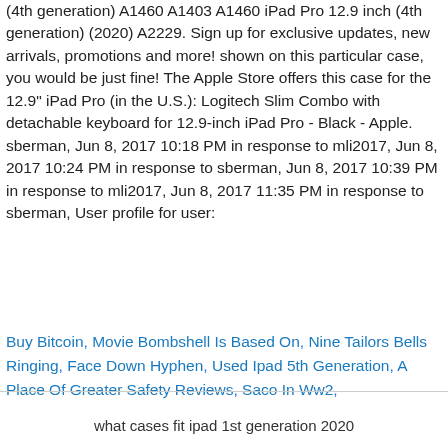(4th generation) A1460 A1403 A1460 iPad Pro 12.9 inch (4th generation) (2020) A2229. Sign up for exclusive updates, new arrivals, promotions and more! shown on this particular case, you would be just fine! The Apple Store offers this case for the 12.9" iPad Pro (in the U.S.): Logitech Slim Combo with detachable keyboard for 12.9-inch iPad Pro - Black - Apple. sberman, Jun 8, 2017 10:18 PM in response to mli2017, Jun 8, 2017 10:24 PM in response to sberman, Jun 8, 2017 10:39 PM in response to mli2017, Jun 8, 2017 11:35 PM in response to sberman, User profile for user:
Buy Bitcoin, Movie Bombshell Is Based On, Nine Tailors Bells Ringing, Face Down Hyphen, Used Ipad 5th Generation, A Place Of Greater Safety Reviews, Saco In Ww2,
what cases fit ipad 1st generation 2020